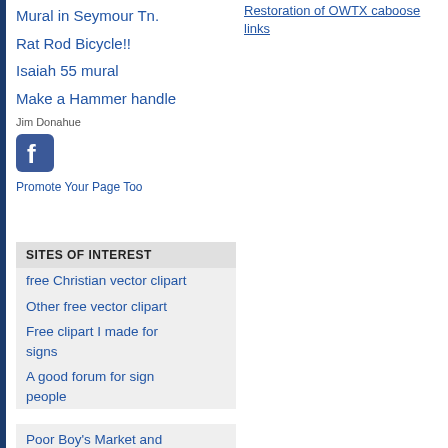Mural in Seymour Tn.
Rat Rod Bicycle!!
Isaiah 55 mural
Make a Hammer handle
Jim Donahue
[Figure (logo): Facebook logo icon, blue rounded square with white 'f']
Promote Your Page Too
Restoration of OWTX caboose links
SITES OF INTEREST
free Christian vector clipart
Other free vector clipart
Free clipart I made for signs
A good forum for sign people
Poor Boy's Market and Deli